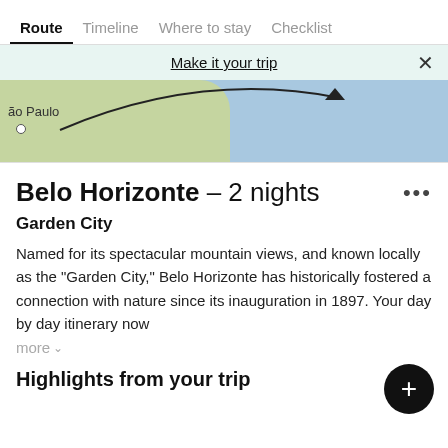Route | Timeline | Where to stay | Checklist
Make it your trip
[Figure (map): Map snippet showing São Paulo area with coastline and a flight path arrow]
Belo Horizonte – 2 nights
Garden City
Named for its spectacular mountain views, and known locally as the "Garden City," Belo Horizonte has historically fostered a connection with nature since its inauguration in 1897. Your day by day itinerary now
more ∨
Highlights from your trip